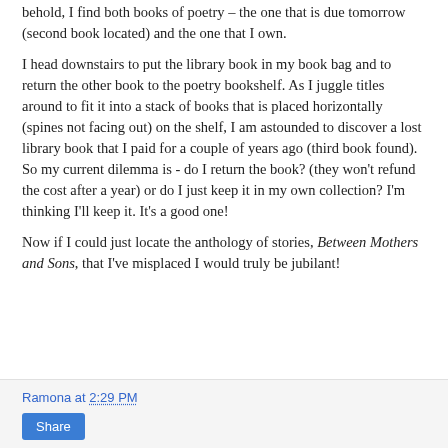behold, I find both books of poetry – the one that is due tomorrow (second book located) and the one that I own.
I head downstairs to put the library book in my book bag and to return the other book to the poetry bookshelf. As I juggle titles around to fit it into a stack of books that is placed horizontally (spines not facing out) on the shelf, I am astounded to discover a lost library book that I paid for a couple of years ago (third book found). So my current dilemma is - do I return the book? (they won't refund the cost after a year) or do I just keep it in my own collection? I'm thinking I'll keep it. It's a good one!
Now if I could just locate the anthology of stories, Between Mothers and Sons, that I've misplaced I would truly be jubilant!
Ramona at 2:29 PM
Share